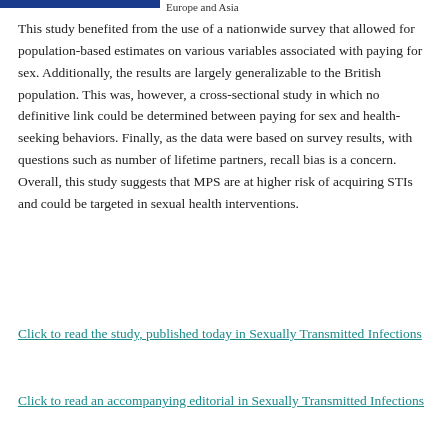Europe and Asia
This study benefited from the use of a nationwide survey that allowed for population-based estimates on various variables associated with paying for sex. Additionally, the results are largely generalizable to the British population. This was, however, a cross-sectional study in which no definitive link could be determined between paying for sex and health-seeking behaviors. Finally, as the data were based on survey results, with questions such as number of lifetime partners, recall bias is a concern. Overall, this study suggests that MPS are at higher risk of acquiring STIs and could be targeted in sexual health interventions.
Click to read the study, published today in Sexually Transmitted Infections
Click to read an accompanying editorial in Sexually Transmitted Infections